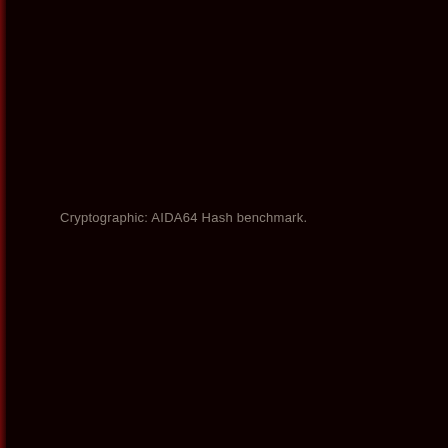Cryptographic: AIDA64 Hash benchmark.